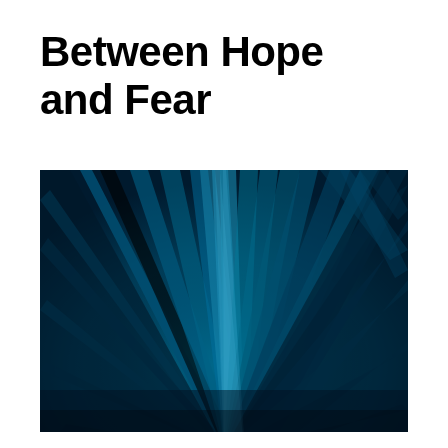Between Hope and Fear
[Figure (photo): Close-up photograph of dark blue-tinted palm or tropical plant leaves radiating outward from a central point, with a deep teal/navy color treatment giving an abstract, dramatic appearance.]